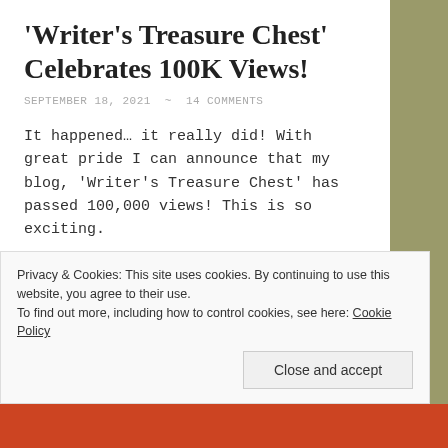'Writer's Treasure Chest' Celebrates 100K Views!
SEPTEMBER 18, 2021  ~  14 COMMENTS
It happened… it really did! With great pride I can announce that my blog, 'Writer's Treasure Chest' has passed 100,000 views! This is so exciting.
← Congratulations!
Privacy & Cookies: This site uses cookies. By continuing to use this website, you agree to their use.
To find out more, including how to control cookies, see here: Cookie Policy
Close and accept